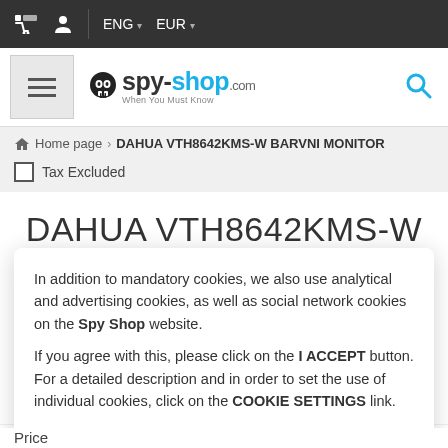ENG EUR
[Figure (logo): Spy-shop.com logo with skull icon and tagline 'When You Must Know']
Home page › DAHUA VTH8642KMS-W BARVNI MONITOR
Tax Excluded
DAHUA VTH8642KMS-W BARVNI MONITOR
In addition to mandatory cookies, we also use analytical and advertising cookies, as well as social network cookies on the Spy Shop website.

If you agree with this, please click on the I ACCEPT button. For a detailed description and in order to set the use of individual cookies, click on the COOKIE SETTINGS link.
I ACCEPT
Cookie Settings
Price